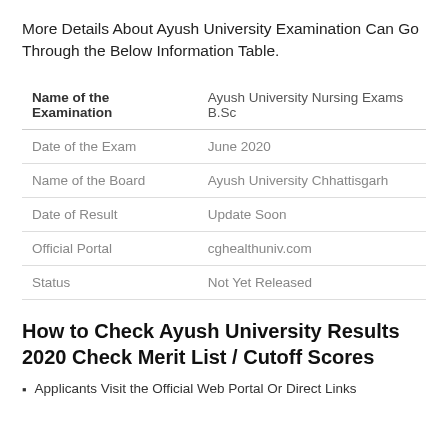More Details About Ayush University Examination Can Go Through the Below Information Table.
| Name of the Examination | Ayush University Nursing Exams B.Sc |
| --- | --- |
| Date of the Exam | June 2020 |
| Name of the Board | Ayush University Chhattisgarh |
| Date of Result | Update Soon |
| Official Portal | cghealthuniv.com |
| Status | Not Yet Released |
How to Check Ayush University Results 2020 Check Merit List / Cutoff Scores
Applicants Visit the Official Web Portal Or Direct Links